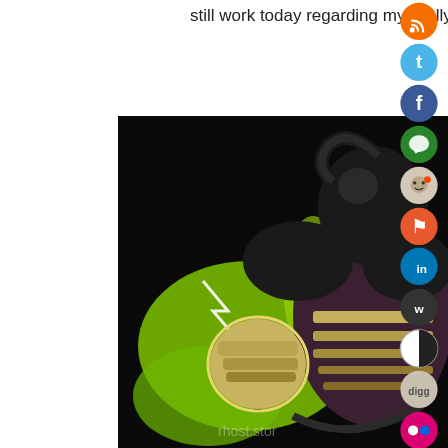still work today regarding my ‘Hollywood’ colum…
[Figure (illustration): Comic book style illustration of an armored villain character with yellow-green energy glowing around its fist, on a dark background. A vertical column of social media sharing icons (RSS, Twitter, Facebook, messaging, Reddit, share, LinkedIn, W, black-white circle, Digg, Flickr) overlays the right side of the image.]